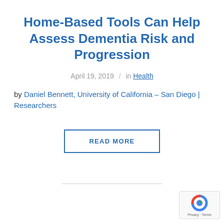Home-Based Tools Can Help Assess Dementia Risk and Progression
April 19, 2019  /  in Health
by Daniel Bennett, University of California – San Diego | Researchers
READ MORE